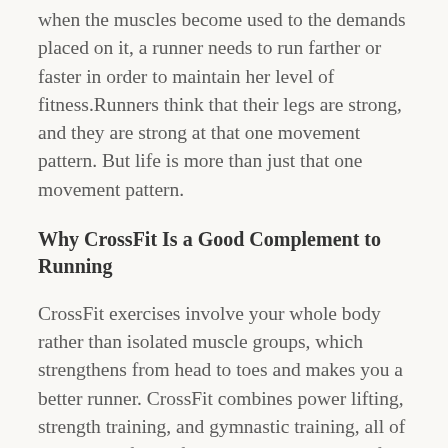when the muscles become used to the demands placed on it, a runner needs to run farther or faster in order to maintain her level of fitness.Runners think that their legs are strong, and they are strong at that one movement pattern. But life is more than just that one movement pattern.
Why CrossFit Is a Good Complement to Running
CrossFit exercises involve your whole body rather than isolated muscle groups, which strengthens from head to toes and makes you a better runner. CrossFit combines power lifting, strength training, and gymnastic training, all of which benefit the fast-twitch muscles used for sprinting and slow-twitch muscles